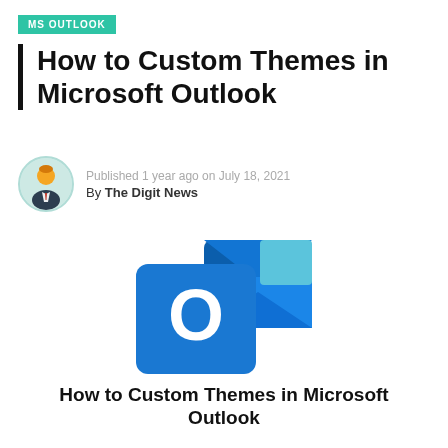MS OUTLOOK
How to Custom Themes in Microsoft Outlook
Published 1 year ago on July 18, 2021
By The Digit News
[Figure (logo): Microsoft Outlook logo — blue square with white O letter and envelope shape behind it]
How to Custom Themes in Microsoft Outlook